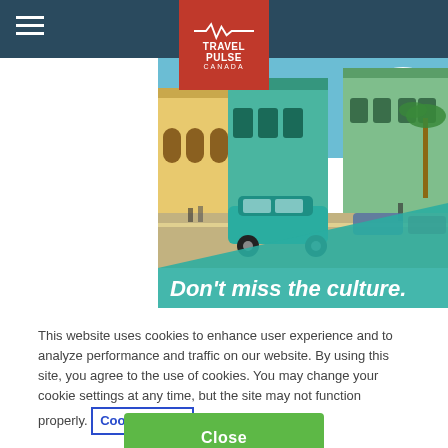Travel Pulse Canada navigation header
[Figure (photo): Travel Pulse Canada website screenshot showing a header with navigation bar and TravelPulse Canada logo, a photo of Havana Cuba with a vintage teal classic car on a colorful street with colonial buildings, overlaid with a teal diagonal design and white bold italic text reading 'Don't miss the culture.']
This website uses cookies to enhance user experience and to analyze performance and traffic on our website. By using this site, you agree to the use of cookies. You may change your cookie settings at any time, but the site may not function properly.  Cookie Policy
Close